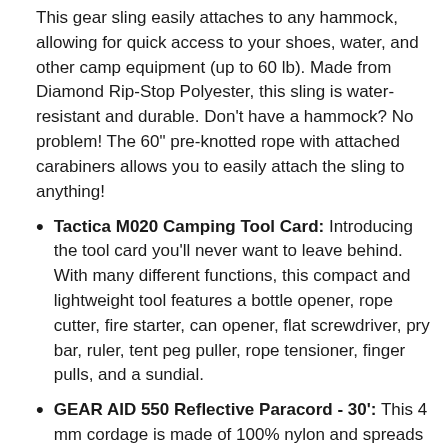This gear sling easily attaches to any hammock, allowing for quick access to your shoes, water, and other camp equipment (up to 60 lb). Made from Diamond Rip-Stop Polyester, this sling is water-resistant and durable. Don't have a hammock? No problem! The 60" pre-knotted rope with attached carabiners allows you to easily attach the sling to anything!
Tactica M020 Camping Tool Card: Introducing the tool card you'll never want to leave behind. With many different functions, this compact and lightweight tool features a bottle opener, rope cutter, fire starter, can opener, flat screwdriver, pry bar, ruler, tent peg puller, rope tensioner, finger pulls, and a sundial.
GEAR AID 550 Reflective Paracord - 30': This 4 mm cordage is made of 100% nylon and spreads 30' in length. Use it to secure shelter, make a clothesline, or create a survival bracelet. With its 7-strand construction, it can be pulled apart and used as a fishing line, thread, or floss for when you get in a bind. When your gear fails, this multipurpose paracord